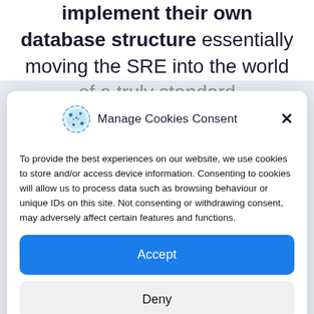implement their own database structure essentially moving the SRE into the world of a truly standard
[Figure (screenshot): Cookie consent modal dialog with cookie icon, title 'Manage Cookies Consent', close button, description text, Accept button (blue), Deny button (grey), View preferences button (grey), and links to Cookies and Privacy Policy]
Manage Cookies Consent
To provide the best experiences on our website, we use cookies to store and/or access device information. Consenting to cookies will allow us to process data such as browsing behaviour or unique IDs on this site. Not consenting or withdrawing consent, may adversely affect certain features and functions.
Accept
Deny
View preferences
Cookies  Privacy Policy